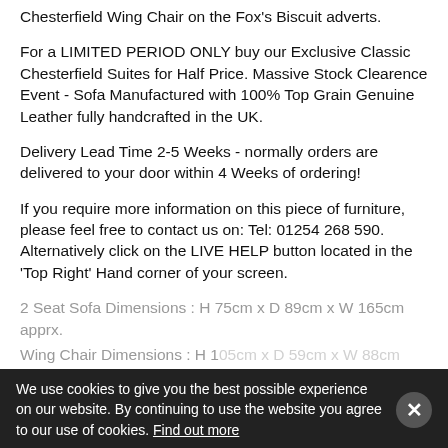Chesterfield Wing Chair on the Fox's Biscuit adverts.
For a LIMITED PERIOD ONLY buy our Exclusive Classic Chesterfield Suites for Half Price. Massive Stock Clearence Event - Sofa Manufactured with 100% Top Grain Genuine Leather fully handcrafted in the UK.
Delivery Lead Time 2-5 Weeks - normally orders are delivered to your door within 4 Weeks of ordering!
If you require more information on this piece of furniture, please feel free to contact us on: Tel: 01254 268 590. Alternatively click on the LIVE HELP button located in the 'Top Right' Hand corner of your screen.
2 Seat Sofa Dimensions : H 75cm x D 89cm x W 165cm apprx.
Wing Chair Dimensions : H 105cm x D 59cm x W 88cm
We use cookies to give you the best possible experience on our website. By continuing to use the website you agree to our use of cookies. Find out more